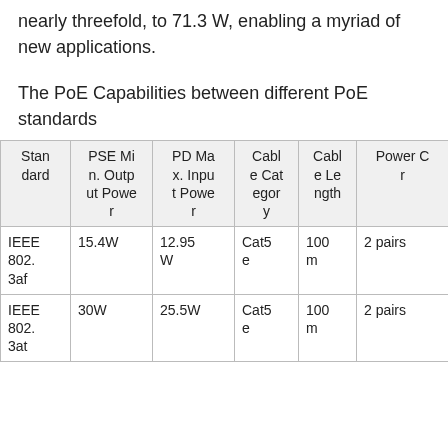the amount of power available for devices increases nearly threefold, to 71.3 W, enabling a myriad of new applications.
The PoE Capabilities between different PoE standards
| Standard | PSE Min. Output Power | PD Max. Input Power | Cable Category | Cable Length | Power C r |
| --- | --- | --- | --- | --- | --- |
| IEEE 802.3af | 15.4W | 12.95 W | Cat5e | 100 m | 2 pairs |
| IEEE 802.3at | 30W | 25.5W | Cat5e | 100 m | 2 pairs |